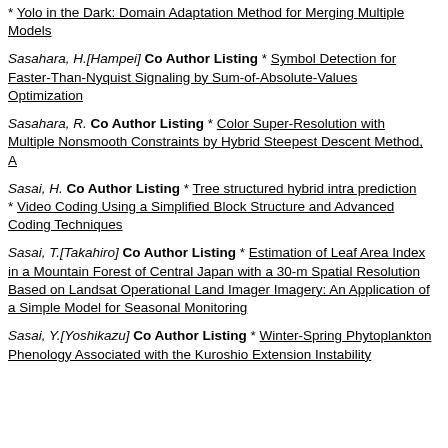* Yolo in the Dark: Domain Adaptation Method for Merging Multiple Models
Sasahara, H.[Hampei] Co Author Listing * Symbol Detection for Faster-Than-Nyquist Signaling by Sum-of-Absolute-Values Optimization
Sasahara, R. Co Author Listing * Color Super-Resolution with Multiple Nonsmooth Constraints by Hybrid Steepest Descent Method, A
Sasai, H. Co Author Listing * Tree structured hybrid intra prediction * Video Coding Using a Simplified Block Structure and Advanced Coding Techniques
Sasai, T.[Takahiro] Co Author Listing * Estimation of Leaf Area Index in a Mountain Forest of Central Japan with a 30-m Spatial Resolution Based on Landsat Operational Land Imager Imagery: An Application of a Simple Model for Seasonal Monitoring
Sasai, Y.[Yoshikazu] Co Author Listing * Winter-Spring Phytoplankton Phenology Associated with the Kuroshio Extension Instability